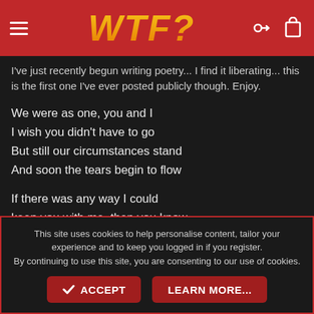WTF?
I've just recently begun writing poetry... I find it liberating... this is the first one I've ever posted publicly though. Enjoy.
We were as one, you and I
I wish you didn't have to go
But still our circumstances stand
And soon the tears begin to flow
If there was any way I could
keep you with me, then you know
You'd stay here with me forever
Instead of having to go
Oh how my heart is broken this day
This site uses cookies to help personalise content, tailor your experience and to keep you logged in if you register.
By continuing to use this site, you are consenting to our use of cookies.